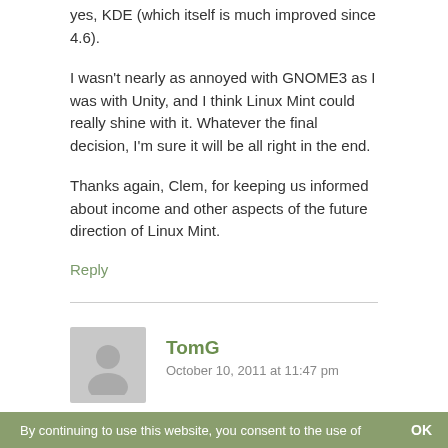yes, KDE (which itself is much improved since 4.6).
I wasn't nearly as annoyed with GNOME3 as I was with Unity, and I think Linux Mint could really shine with it. Whatever the final decision, I'm sure it will be all right in the end.
Thanks again, Clem, for keeping us informed about income and other aspects of the future direction of Linux Mint.
Reply
TomG
October 10, 2011 at 11:47 pm
To clarify part of my statement – there are other desktop choices Linux Mint offers for people who just
By continuing to use this website, you consent to the use of   OK